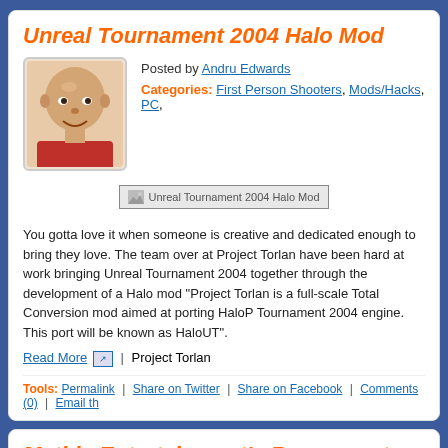Unreal Tournament 2004 Halo Mod
Posted by Andru Edwards
Categories: First Person Shooters, Mods/Hacks, PC,
[Figure (photo): Thumbnail image labeled 'Unreal Tournament 2004 Halo Mod']
You gotta love it when someone is creative and dedicated enough to bring they love. The team over at Project Torlan have been hard at work bringing Unreal Tournament 2004 together through the development of a Halo mod "Project Torlan is a full-scale Total Conversion mod aimed at porting HaloP Tournament 2004 engine. This port will be known as HaloUT".
Read More | Project Torlan
Tools: Permalink | Share on Twitter | Share on Facebook | Comments (0) | Email th
Mythic Entertainment's Response to StationExc
Posted by Jesse Easley
Categories: Internet, Role Playing Games,